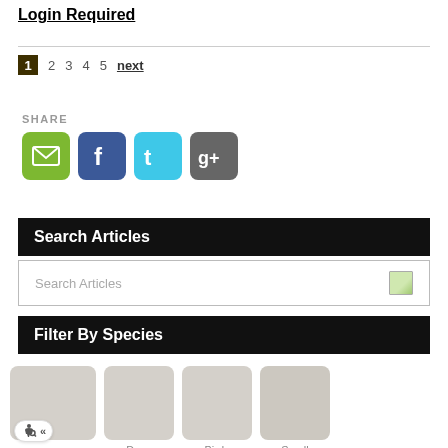Login Required
1 2 3 4 5 next
SHARE
[Figure (other): Social share icons: email (green), Facebook (blue), Twitter (cyan), Google+ (grey)]
Search Articles
Search Articles
Filter By Species
[Figure (other): Species filter grid showing four image boxes labeled Dogs, Birds, Small Mammals, with accessibility badge on first item]